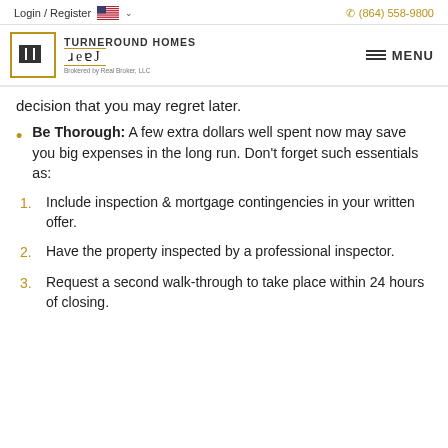Login / Register  🇺🇸 ∨    (864) 558-9800
[Figure (logo): Turneround Homes Real logo with golden bordered box containing THH icon, text TURNEROUND HOMES real, Brokered by Real Broker, LLC]
decision that you may regret later.
Be Thorough: A few extra dollars well spent now may save you big expenses in the long run. Don't forget such essentials as:
Include inspection & mortgage contingencies in your written offer.
Have the property inspected by a professional inspector.
Request a second walk-through to take place within 24 hours of closing.